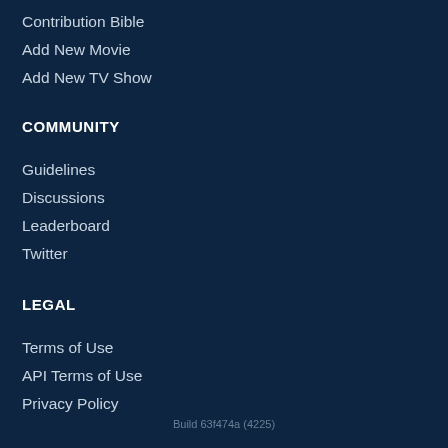Contribution Bible
Add New Movie
Add New TV Show
COMMUNITY
Guidelines
Discussions
Leaderboard
Twitter
LEGAL
Terms of Use
API Terms of Use
Privacy Policy
Build 63f474a (4225)